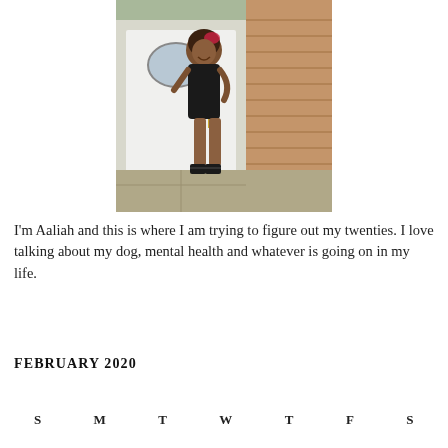[Figure (photo): A young woman wearing a black sleeveless dress and black heeled sandals, standing in front of a white front door with an oval window, next to a brick column. She is smiling with one hand on her hip.]
I'm Aaliah and this is where I am trying to figure out my twenties. I love talking about my dog, mental health and whatever is going on in my life.
FEBRUARY 2020
| S | M | T | W | T | F | S |
| --- | --- | --- | --- | --- | --- | --- |